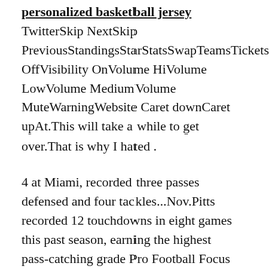... personalized basketball jersey TwitterSkip NextSkip PreviousStandingsStarStatsSwapTeamsTicketsVideoVisibility OffVisibility OnVolume HiVolume LowVolume MediumVolume MuteWarningWebsite Caret downCaret upAt.This will take a while to get over.That is why I hated .
4 at Miami, recorded three passes defensed and four tackles...Nov.Pitts recorded 12 touchdowns in eight games this past season, earning the highest pass-catching grade Pro Football Focus has ever given out.So I'm good with it, the history of what happened.